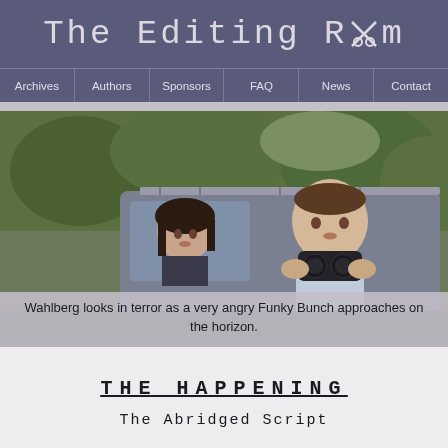The Editing Room
Archives | Authors | Sponsors | FAQ | News | Contact
[Figure (photo): Movie still from The Happening showing a woman with dark hair looking worried through a car window, and a man holding binoculars next to a vehicle outdoors.]
Wahlberg looks in terror as a very angry Funky Bunch approaches on the horizon.
THE HAPPENING
The Abridged Script